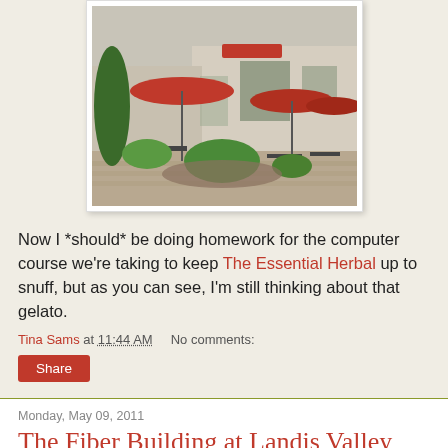[Figure (photo): Outdoor patio of a restaurant or cafe with red umbrellas, picnic tables, trees, and brick walkway. A commercial building is visible in the background.]
Now I *should* be doing homework for the computer course we're taking to keep The Essential Herbal up to snuff, but as you can see, I'm still thinking about that gelato.
Tina Sams at 11:44 AM   No comments:
Share
Monday, May 09, 2011
The Fiber Building at Landis Valley
Many of my friends are fiber junkies. Trends come and go,